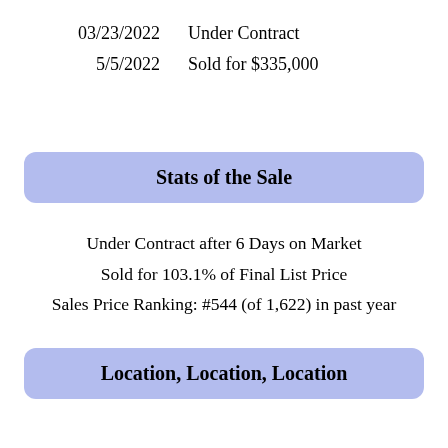03/23/2022    Under Contract
5/5/2022        Sold for $335,000
Stats of the Sale
Under Contract after 6 Days on Market
Sold for 103.1% of Final List Price
Sales Price Ranking: #544 (of 1,622) in past year
Location, Location, Location